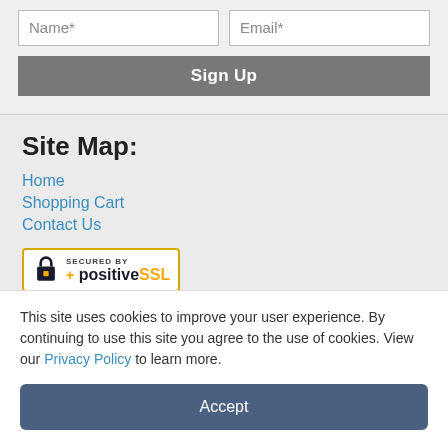Name*
Email*
Sign Up
Site Map:
Home
Shopping Cart
Contact Us
[Figure (logo): Secured by PositiveSSL badge with padlock icon and yellow border]
Products:
ASA 5506H X Series
This site uses cookies to improve your user experience. By continuing to use this site you agree to the use of cookies. View our Privacy Policy to learn more.
Accept